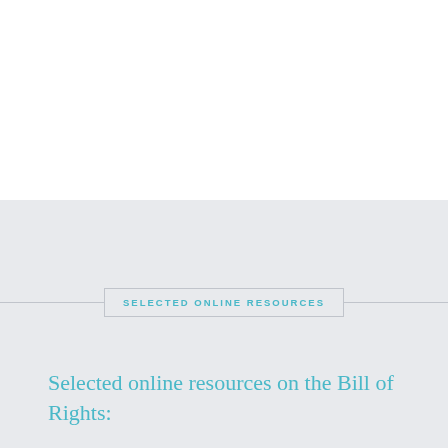SELECTED ONLINE RESOURCES
Selected online resources on the Bill of Rights: